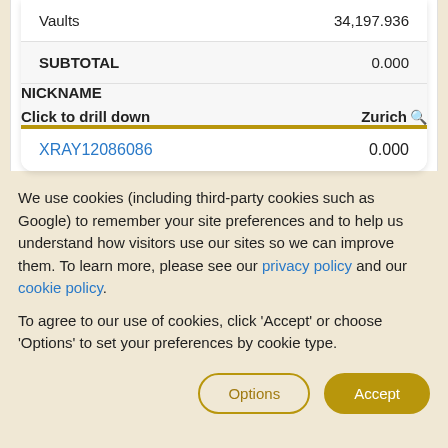| Item | Value |
| --- | --- |
| Vaults | 34,197.936 |
| SUBTOTAL | 0.000 |
| NICKNAME / Click to drill down | Zurich |
| --- | --- |
| XRAY12086086 | 0.000 |
We use cookies (including third-party cookies such as Google) to remember your site preferences and to help us understand how visitors use our sites so we can improve them. To learn more, please see our privacy policy and our cookie policy.
To agree to our use of cookies, click 'Accept' or choose 'Options' to set your preferences by cookie type.